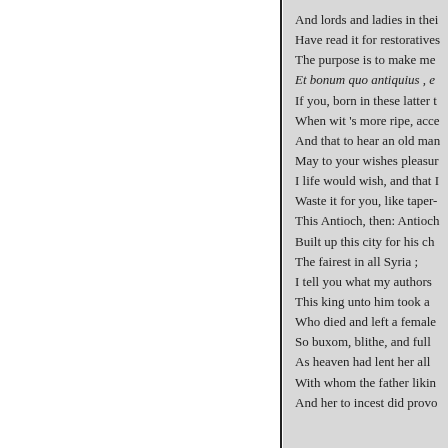And lords and ladies in thei
Have read it for restoratives
The purpose is to make me
Et bonum quo antiquius , e
If you, born in these latter t
When wit 's more ripe, acce
And that to hear an old man
May to your wishes pleasur
I life would wish, and that I
Waste it for you, like taper-
This Antioch, then: Antioch
Built up this city for his ch
The fairest in all Syria ;
I tell you what my authors
This king unto him took a 
Who died and left a female
So buxom, blithe, and full 
As heaven had lent her all 
With whom the father likin
And her to incest did provo